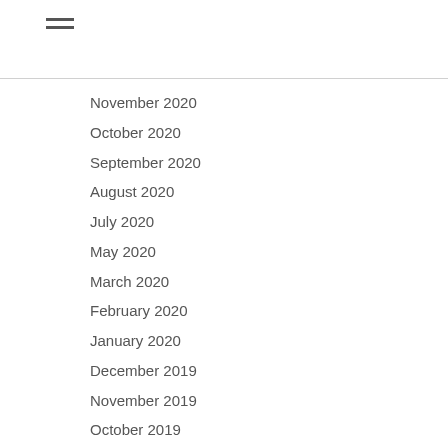November 2020
October 2020
September 2020
August 2020
July 2020
May 2020
March 2020
February 2020
January 2020
December 2019
November 2019
October 2019
September 2019
July 2019
June 2019
May 2019
April 2019
March 2019
February 2019
January 2019